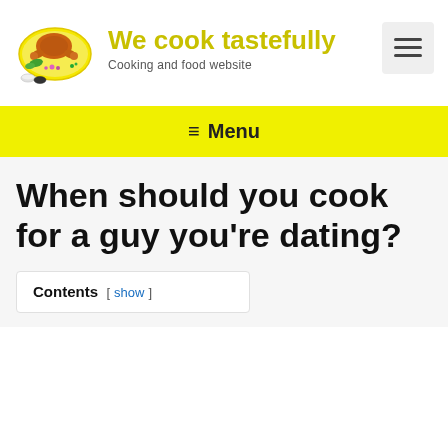[Figure (logo): Circular logo with a roasted chicken on a plate with garnishes, yellow oval background]
We cook tastefully
Cooking and food website
[Figure (other): Hamburger menu icon button]
≡ Menu
When should you cook for a guy you're dating?
Contents [ show ]